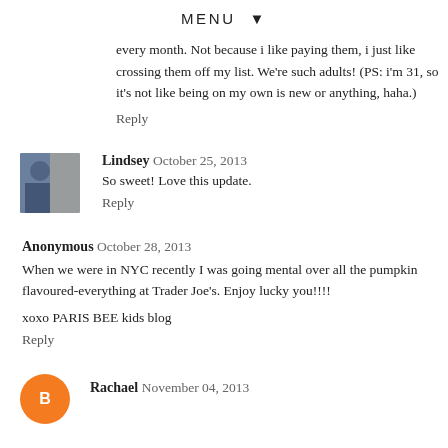MENU ▼
every month. Not because i like paying them, i just like crossing them off my list. We're such adults! (PS: i'm 31, so it's not like being on my own is new or anything, haha.)
Reply
Lindsey  October 25, 2013
So sweet! Love this update.
Reply
Anonymous  October 28, 2013
When we were in NYC recently I was going mental over all the pumpkin flavoured-everything at Trader Joe's. Enjoy lucky you!!!!
xoxo PARIS BEE kids blog
Reply
Rachael  November 04, 2013